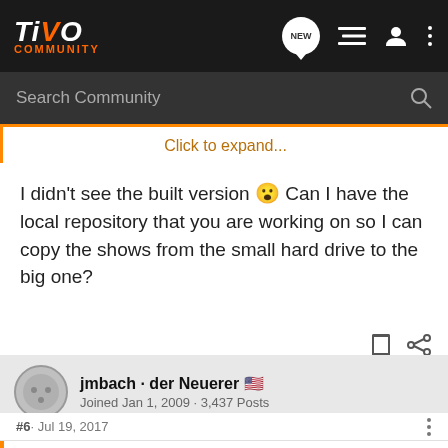TiVo COMMUNITY
Search Community
Click to expand...
I didn't see the built version 😮 Can I have the local repository that you are working on so I can copy the shows from the small hard drive to the big one?
jmbach · der Neuerer 🇺🇸
Joined Jan 1, 2009 · 3,437 Posts
#6 · Jul 19, 2017
MrMan said: ↑